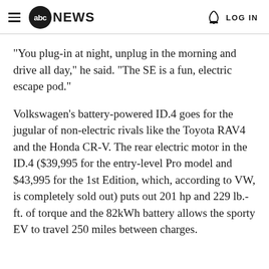abc NEWS  LOG IN
"You plug-in at night, unplug in the morning and drive all day," he said. "The SE is a fun, electric escape pod."
Volkswagen's battery-powered ID.4 goes for the jugular of non-electric rivals like the Toyota RAV4 and the Honda CR-V. The rear electric motor in the ID.4 ($39,995 for the entry-level Pro model and $43,995 for the 1st Edition, which, according to VW, is completely sold out) puts out 201 hp and 229 lb.-ft. of torque and the 82kWh battery allows the sporty EV to travel 250 miles between charges.